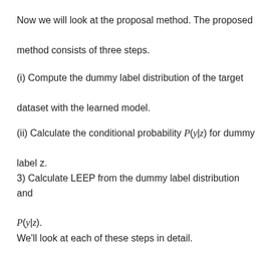Now we will look at the proposal method. The proposed method consists of three steps.
(i) Compute the dummy label distribution of the target dataset with the learned model.
(ii) Calculate the conditional probability P(y|z) for dummy label z.
3) Calculate LEEP from the dummy label distribution and P(y|z).
We'll look at each of these steps in detail.